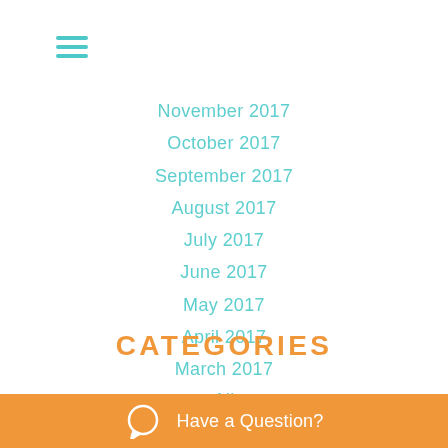[Figure (other): Hamburger menu icon with three horizontal teal lines]
November 2017
October 2017
September 2017
August 2017
July 2017
June 2017
May 2017
April 2017
March 2017
February 2017
January 2017
December 2016
CATEGORIES
All
Children
Communication
Have a Question?